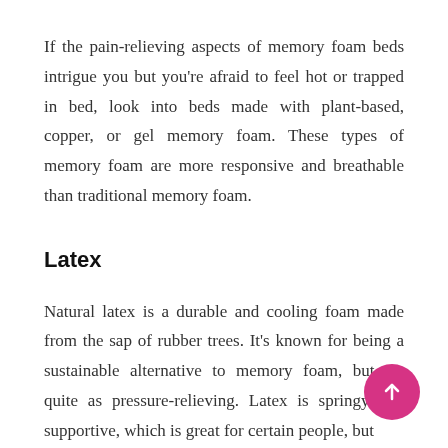If the pain-relieving aspects of memory foam beds intrigue you but you're afraid to feel hot or trapped in bed, look into beds made with plant-based, copper, or gel memory foam. These types of memory foam are more responsive and breathable than traditional memory foam.
Latex
Natural latex is a durable and cooling foam made from the sap of rubber trees. It's known for being a sustainable alternative to memory foam, but it's quite as pressure-relieving. Latex is springy and supportive, which is great for certain people, but